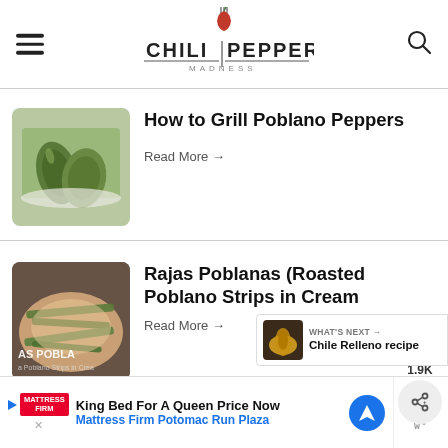[Figure (logo): Chili Pepper Madness website logo with red chili pepper and fork icon above bold text]
How to Grill Poblano Peppers
Read More →
Rajas Poblanas (Roasted Poblano Strips in Cream
Read More →
WHAT'S NEXT → Chile Relleno recipe
King Bed For A Queen Price Now Mattress Firm Potomac Run Plaza